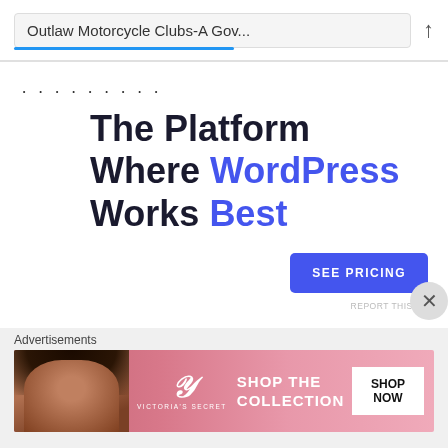Outlaw Motorcycle Clubs-A Gov...
........
[Figure (infographic): Advertisement banner for WordPress hosting: 'The Platform Where WordPress Works Best' with a 'SEE PRICING' button and 'REPORT THIS AD' text]
So what about all the fighting and gun battles between clubs? Well in the last 10
[Figure (infographic): Victoria's Secret advertisement banner with model photo, logo, 'SHOP THE COLLECTION' text, and 'SHOP NOW' button]